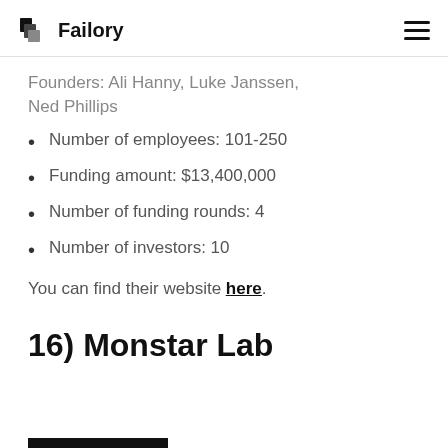Failory
Founders: Ali Hanny, Luke Janssen, Ned Phillips
Number of employees: 101-250
Funding amount: $13,400,000
Number of funding rounds: 4
Number of investors: 10
You can find their website here.
16) Monstar Lab